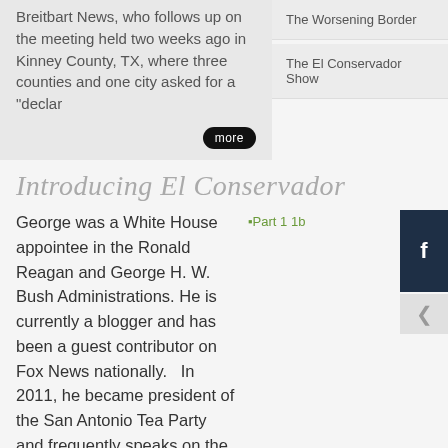reporter Randy Clark from Breitbart News, who follows up on the meeting held two weeks ago in Kinney County, TX, where three counties and one city asked for a "declar
more
The Worsening Border
The El Conservador Show
Introducing El Conservador
George was a White House appointee in the Ronald Reagan and George H. W. Bush Administrations. He is currently a blogger and has been a guest contributor on Fox News nationally.   In 2011, he became president of the San Antonio Tea Party and frequently speaks on the topic of immigration, specifically illegal immigration
[Figure (photo): Part 1 1b image placeholder]
f (Facebook button)
Open